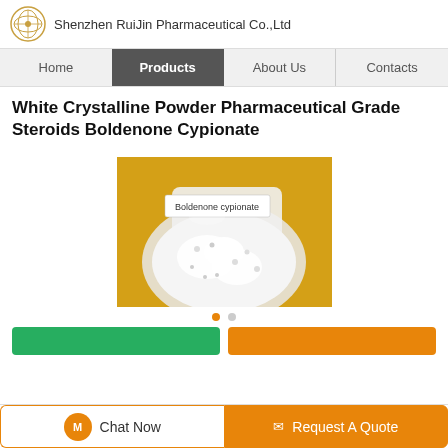Shenzhen RuiJin Pharmaceutical Co.,Ltd
Home | Products | About Us | Contacts
White Crystalline Powder Pharmaceutical Grade Steroids Boldenone Cypionate
[Figure (photo): A plastic bag containing white crystalline powder labeled 'Boldenone cypionate' on a yellow background]
Chat Now | Request A Quote